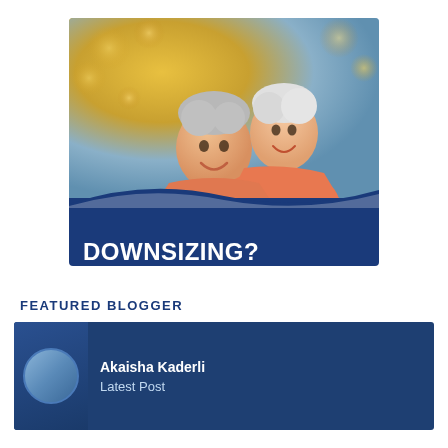[Figure (illustration): Promotional banner showing a smiling elderly couple with autumn bokeh background. Dark navy blue wave band overlays the bottom portion with bold white text reading 'DOWNSIZING?' and subtitle 'Plan ahead - see our great tips!']
FEATURED BLOGGER
Akaisha Kaderli
Latest Post